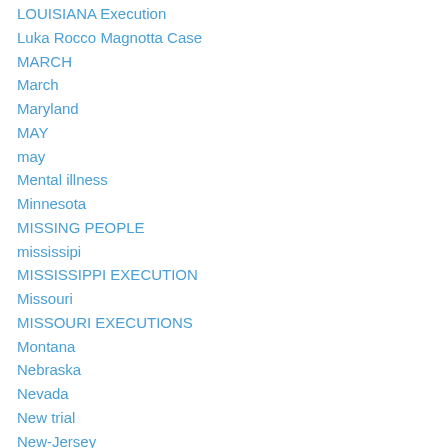LOUISIANA Execution
Luka Rocco Magnotta Case
MARCH
March
Maryland
MAY
may
Mental illness
Minnesota
MISSING PEOPLE
mississipi
MISSISSIPPI EXECUTION
Missouri
MISSOURI EXECUTIONS
Montana
Nebraska
Nevada
New trial
New-Jersey
North Carolina